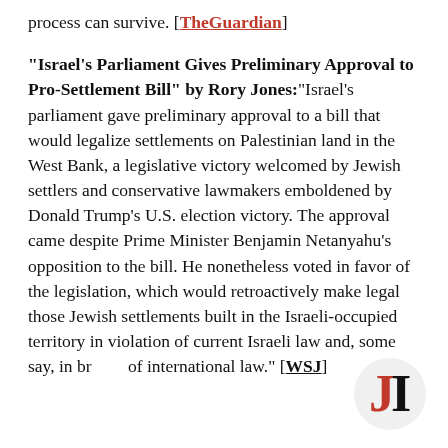process can survive. [TheGuardian]
"Israel's Parliament Gives Preliminary Approval to Pro-Settlement Bill" by Rory Jones: "Israel's parliament gave preliminary approval to a bill that would legalize settlements on Palestinian land in the West Bank, a legislative victory welcomed by Jewish settlers and conservative lawmakers emboldened by Donald Trump's U.S. election victory. The approval came despite Prime Minister Benjamin Netanyahu's opposition to the bill. He nonetheless voted in favor of the legislation, which would retroactively make legal those Jewish settlements built in the Israeli-occupied territory in violation of current Israeli law and, some say, in breach of international law." [WSJ]